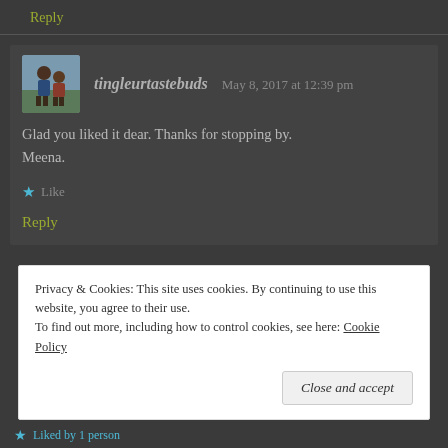Reply
[Figure (photo): Avatar photo of tingleurtastebuds showing two people]
tingleurtastebuds   May 8, 2017 at 12:39 pm
Glad you liked it dear. Thanks for stopping by. Meena.
Like
Reply
Privacy & Cookies: This site uses cookies. By continuing to use this website, you agree to their use. To find out more, including how to control cookies, see here: Cookie Policy
Close and accept
Liked by 1 person